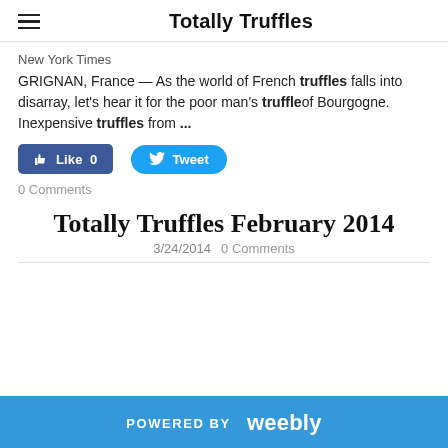Totally Truffles
New York Times
GRIGNAN, France — As the world of French truffles falls into disarray, let's hear it for the poor man's truffleof Bourgogne. Inexpensive truffles from ...
[Figure (other): Facebook Like button showing Like 0 and Twitter Tweet button]
0 Comments
Totally Truffles February 2014
3/24/2014  0 Comments
POWERED BY weebly